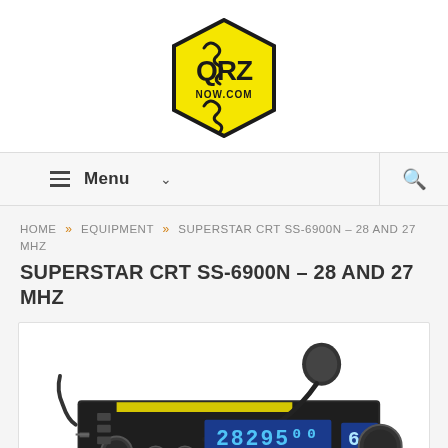[Figure (logo): QRZ NOW.COM logo — yellow hexagon with coil/inductor symbols and bold black text 'QRZ' and 'NOW.COM']
[Figure (screenshot): Navigation bar with hamburger menu icon, 'Menu' text, chevron down, and search icon]
HOME » EQUIPMENT » SUPERSTAR CRT SS-6900N – 28 AND 27 MHZ
SUPERSTAR CRT SS-6900N – 28 AND 27 MHZ
[Figure (photo): Photo of a CRT SS-6900N CB/amateur radio transceiver showing blue LCD display reading 28295.00 and a channel display showing 60, with a microphone on top]